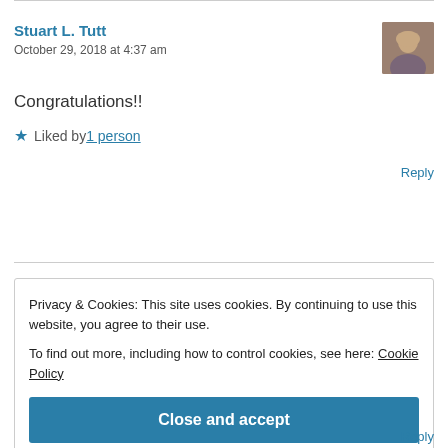Stuart L. Tutt
October 29, 2018 at 4:37 am
Congratulations!!
Liked by 1 person
Reply
Privacy & Cookies: This site uses cookies. By continuing to use this website, you agree to their use.
To find out more, including how to control cookies, see here: Cookie Policy
Close and accept
Reply